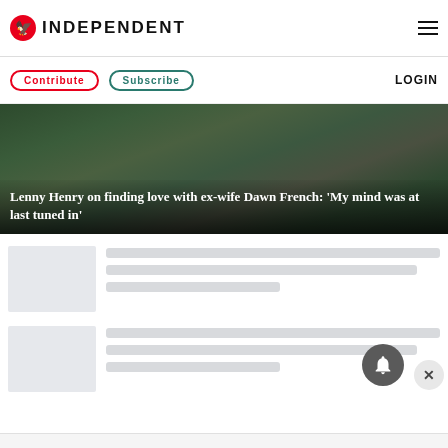INDEPENDENT
Contribute | Subscribe | LOGIN
[Figure (photo): Dark outdoor photo of people, used as hero banner image for article about Lenny Henry and Dawn French]
Lenny Henry on finding love with ex-wife Dawn French: ‘My mind was at last tuned in’
[Figure (photo): Placeholder thumbnail image for article card 1]
[Figure (photo): Placeholder thumbnail image for article card 2]